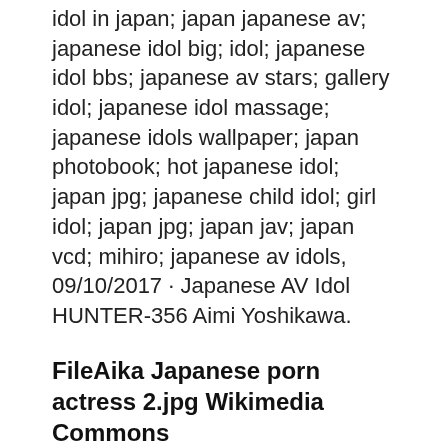idol in japan; japan japanese av; japanese idol big; idol; japanese idol bbs; japanese av stars; gallery idol; japanese idol massage; japanese idols wallpaper; japan photobook; hot japanese idol; japan jpg; japanese child idol; girl idol; japan jpg; japan jav; japan vcd; mihiro; japanese av idols, 09/10/2017 · Japanese AV Idol HUNTER-356 Aimi Yoshikawa.
FileAika Japanese porn actress 2.jpg Wikimedia Commons
AIKA 1ST PHOTOS Collection Book Amour Limited Edition. JAPANESE AV IDOL AIKA 1st PHOTO BOOK : amour [JAPANESE EDITION] 000 [JAPANESE ...